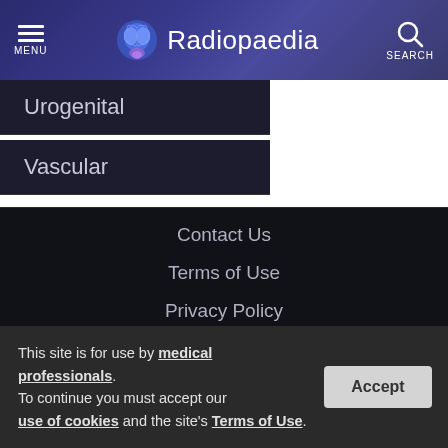MENU | Radiopaedia | SEARCH
Urogenital
Vascular
Contact Us
Terms of Use
Privacy Policy
Licensing
Sponsorship
Developers
This site is for use by medical professionals. To continue you must accept our use of cookies and the site's Terms of Use.